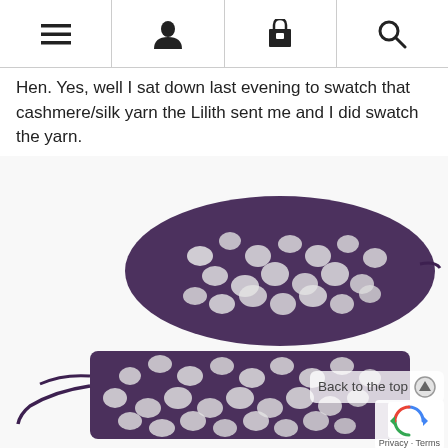Navigation bar with menu, user, cart, and search icons
Hen. Yes, well I sat down last evening to swatch that cashmere/silk yarn the Lilith sent me and I did swatch the yarn.
[Figure (photo): Two purple lace crochet swatches laid on a white surface. The top swatch is a wider, shorter piece with an open lace diamond pattern in dark purple yarn. The bottom swatch is longer and narrower, also showing a lace pattern in the same dark purple yarn with visible yarn tails hanging off the left side.]